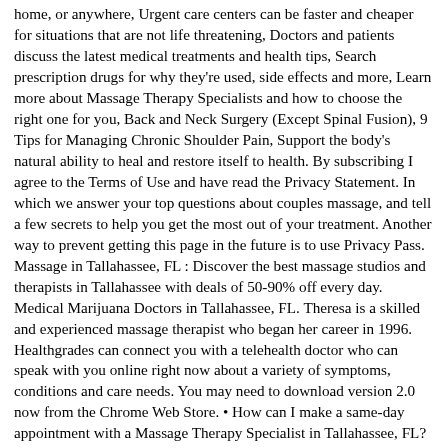home, or anywhere, Urgent care centers can be faster and cheaper for situations that are not life threatening, Doctors and patients discuss the latest medical treatments and health tips, Search prescription drugs for why they're used, side effects and more, Learn more about Massage Therapy Specialists and how to choose the right one for you, Back and Neck Surgery (Except Spinal Fusion), 9 Tips for Managing Chronic Shoulder Pain, Support the body's natural ability to heal and restore itself to health. By subscribing I agree to the Terms of Use and have read the Privacy Statement. In which we answer your top questions about couples massage, and tell a few secrets to help you get the most out of your treatment. Another way to prevent getting this page in the future is to use Privacy Pass. Massage in Tallahassee, FL : Discover the best massage studios and therapists in Tallahassee with deals of 50-90% off every day. Medical Marijuana Doctors in Tallahassee, FL. Theresa is a skilled and experienced massage therapist who began her career in 1996. Healthgrades can connect you with a telehealth doctor who can speak with you online right now about a variety of symptoms, conditions and care needs. You may need to download version 2.0 now from the Chrome Web Store. • How can I make a same-day appointment with a Massage Therapy Specialist in Tallahassee, FL? If you're stressed out about how much to tip or what to wear, your massage won't be relaxing. How can I find a Tallahassee, FL Massage Therapy Specialist who sees patients after hours? Completing the CAPTCHA proves you are a human and gives you temporary access to the web property. Theresa offers